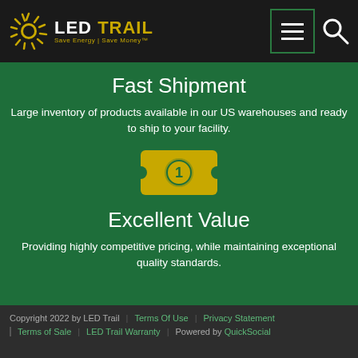[Figure (logo): LED Trail logo with circular sunburst icon and tagline 'Save Energy | Save Money']
Fast Shipment
Large inventory of products available in our US warehouses and ready to ship to your facility.
[Figure (illustration): Dollar bill icon with number 1, yellow/gold color on green background]
Excellent Value
Providing highly competitive pricing, while maintaining exceptional quality standards.
Copyright 2022 by LED Trail | Terms Of Use | Privacy Statement | Terms of Sale | LED Trail Warranty | Powered by QuickSocial